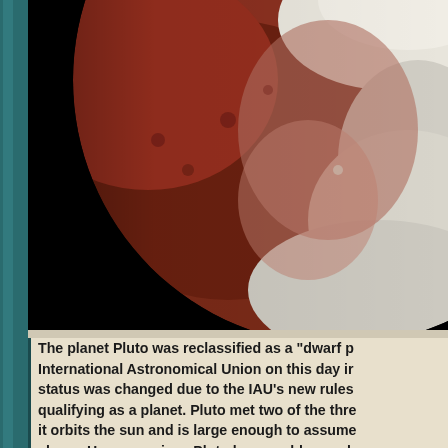[Figure (photo): Close-up photograph of Pluto showing its surface with reddish-brown regions, white icy areas, and black space background. The dwarf planet is partially visible with detailed surface textures.]
The planet Pluto was reclassified as a "dwarf planet" by the International Astronomical Union on this day in... status was changed due to the IAU's new rules... qualifying as a planet. Pluto met two of the three... it orbits the sun and is large enough to assume... shape. However, since Pluto has an oblong orb... the orbit of Neptune it disqualified Pluto as a pl...